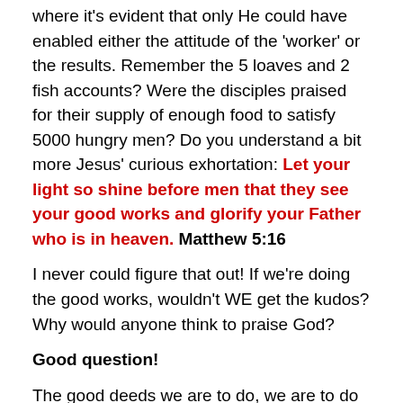where it's evident that only He could have enabled either the attitude of the 'worker' or the results. Remember the 5 loaves and 2 fish accounts?  Were the disciples praised for their supply of enough food to satisfy 5000 hungry men? Do you understand a bit more Jesus' curious exhortation:  Let your light so shine before men that they see your good works and glorify your Father who is in heaven.   Matthew 5:16
I never could figure that out!  If we're doing the good works, wouldn't WE get the kudos? Why would anyone think to praise God?
Good question!
The good deeds we are to do, we are to do with His strength, in a humble way that magnifies the surpassing greatness of God. No surprise there!  If we actually read